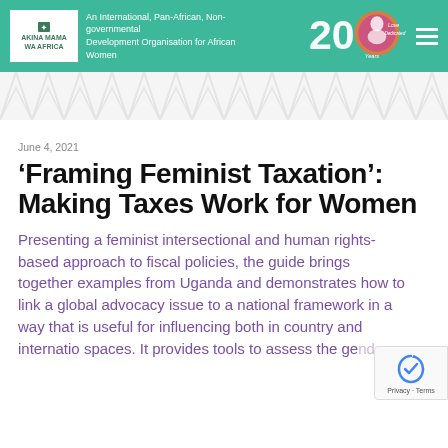AKINA MAMA WA AFRICA — An International, Pan-African, Non-governmental Development Organisation for African Women
[Figure (logo): Akina Mama wa Africa 20th anniversary logo with decorative badge on teal/green header background]
[Figure (illustration): Decorative African pattern strip in light grey]
June 4, 2021
'Framing Feminist Taxation': Making Taxes Work for Women
Presenting a feminist intersectional and human rights-based approach to fiscal policies, the guide brings together examples from Uganda and demonstrates how to link a global advocacy issue to a national framework in a way that is useful for influencing both in country and international spaces. It provides tools to assess the gender